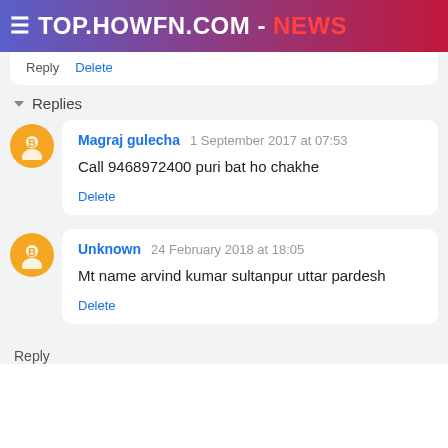≡ TOP.HOWFN.COM - NEWS
Reply  Delete
▾ Replies
Magraj gulecha  1 September 2017 at 07:53
Call 9468972400 puri bat ho chakhe
Delete
Unknown  24 February 2018 at 18:05
Mt name arvind kumar sultanpur uttar pardesh
Delete
Reply